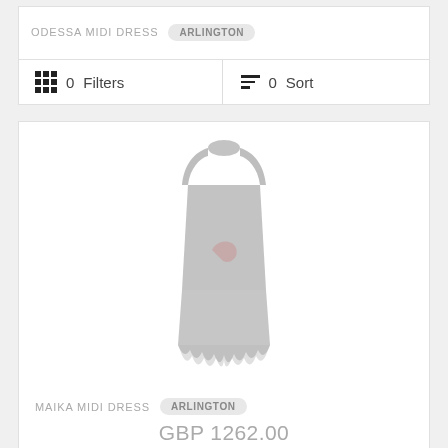ODESSA MIDI DRESS  ARLINGTON
0  Filters   0  Sort
[Figure (illustration): Illustration of a dark grey/charcoal sleeveless midi dress with fur hem trim and a pink accent detail at the waist, shown on a white background.]
MAIKA MIDI DRESS  ARLINGTON
GBP 1262.00